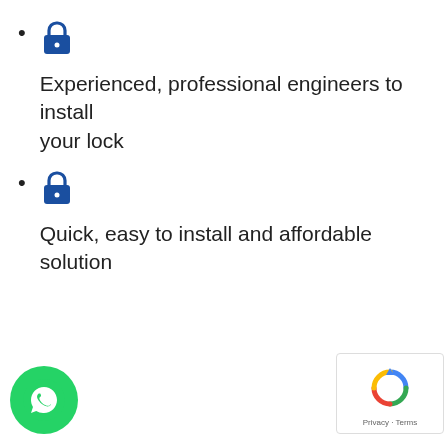Experienced, professional engineers to install your lock
Quick, easy to install and affordable solution
[Figure (logo): WhatsApp floating button (green circle with WhatsApp logo)]
[Figure (other): Google reCAPTCHA badge with Privacy and Terms links]